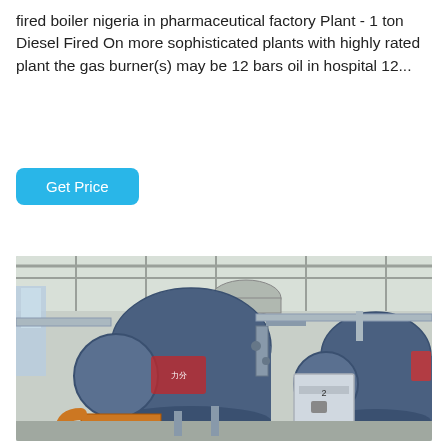fired boiler nigeria in pharmaceutical factory Plant - 1 ton Diesel Fired On more sophisticated plants with highly rated plant the gas burner(s) may be 12 bars oil in hospital 12...
[Figure (other): Button labeled 'Get Price' with cyan/teal background]
[Figure (photo): Industrial boiler room with two large blue cylindrical boilers labeled with Chinese characters, pipes, and a control panel, inside a factory building with metal roof structure.]